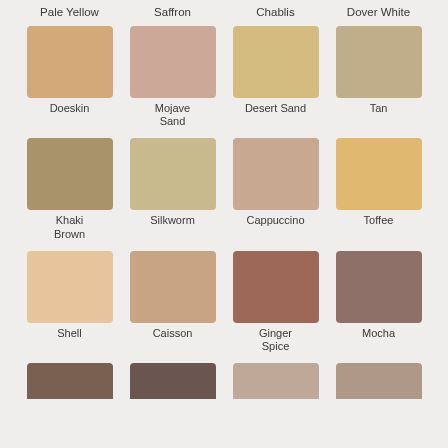Pale Yellow
Saffron
Chablis
Dover White
[Figure (infographic): Color swatches grid showing paint/color names with colored square samples. Row 2: Doeskin (tan beige), Mojave Sand (pinkish beige), Desert Sand (yellow sand), Tan (khaki tan). Row 3: Khaki Brown (olive brown), Silkworm (light khaki), Cappuccino (pink beige), Toffee (warm orange tan). Row 4: Shell (pale peach), Caisson (warm tan), Ginger Spice (reddish brown), Mocha (medium brown). Row 5 (partial): four partially visible darker swatches.]